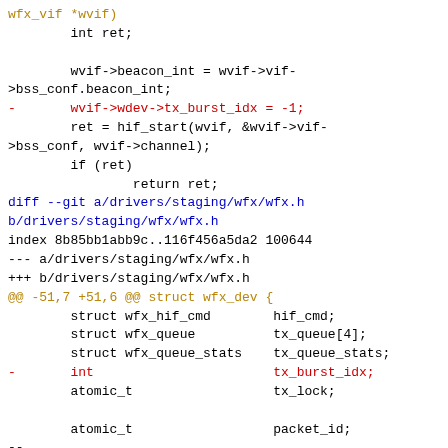wfx_vif *wvif)
        int ret;

        wvif->beacon_int = wvif->vif->bss_conf.beacon_int;
-       wvif->wdev->tx_burst_idx = -1;
        ret = hif_start(wvif, &wvif->vif->bss_conf, wvif->channel);
        if (ret)
                return ret;
diff --git a/drivers/staging/wfx/wfx.h b/drivers/staging/wfx/wfx.h
index 8b85bb1abb9c..116f456a5da2 100644
--- a/drivers/staging/wfx/wfx.h
+++ b/drivers/staging/wfx/wfx.h
@@ -51,7 +51,6 @@ struct wfx_dev {
        struct wfx_hif_cmd        hif_cmd;
        struct wfx_queue           tx_queue[4];
        struct wfx_queue_stats     tx_queue_stats;
-       int                        tx_burst_idx;
        atomic_t                   tx_lock;

        atomic_t                   packet_id;
--
2.25.1


^ permalink raw reply   [flat|nested] 40+ messages in thread
^ permalink raw reply   [flat|nested] 40+ messages in thread